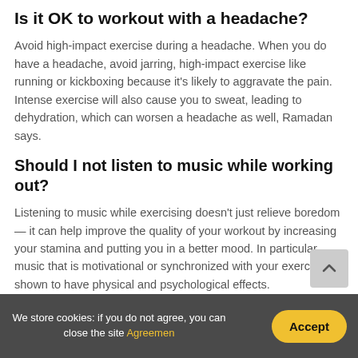Is it OK to workout with a headache?
Avoid high-impact exercise during a headache. When you do have a headache, avoid jarring, high-impact exercise like running or kickboxing because it's likely to aggravate the pain. Intense exercise will also cause you to sweat, leading to dehydration, which can worsen a headache as well, Ramadan says.
Should I not listen to music while working out?
Listening to music while exercising doesn't just relieve boredom — it can help improve the quality of your workout by increasing your stamina and putting you in a better mood. In particular, music that is motivational or synchronized with your exercise is shown to have physical and psychological effects.
We store cookies: if you do not agree, you can close the site Agreemen  Accept